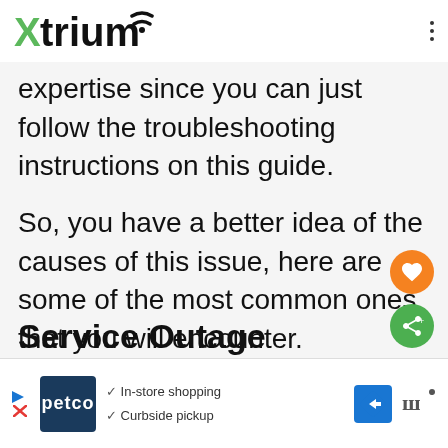Xtrium
expertise since you can just follow the troubleshooting instructions on this guide.
So, you have a better idea of the causes of this issue, here are some of the most common ones that you will encounter.
Service Outage
[Figure (screenshot): Ad banner showing Petco with checkmarks for In-store shopping and Curbside pickup, navigation arrow icon, and sound/wavy icon]